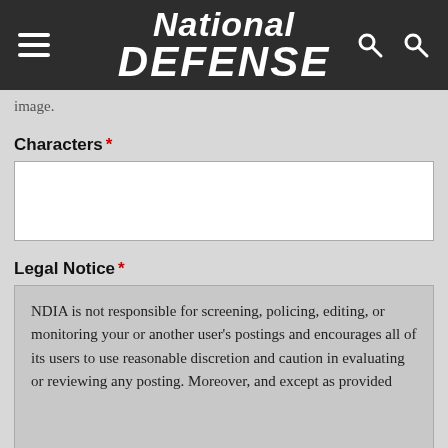[Figure (logo): National Defense magazine logo with hamburger menu and search icons on dark header bar]
image.
Characters *
Legal Notice *
NDIA is not responsible for screening, policing, editing, or monitoring your or another user's postings and encourages all of its users to use reasonable discretion and caution in evaluating or reviewing any posting. Moreover, and except as provided